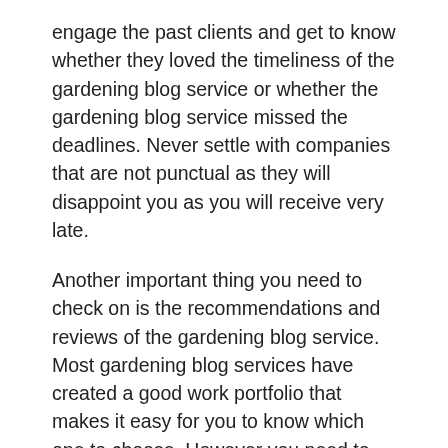engage the past clients and get to know whether they loved the timeliness of the gardening blog service or whether the gardening blog service missed the deadlines. Never settle with companies that are not punctual as they will disappoint you as you will receive very late.
Another important thing you need to check on is the recommendations and reviews of the gardening blog service. Most gardening blog services have created a good work portfolio that makes it easy for you to know which one to choose. However you need to inquire from other clients on the way a certain gardening blog service provides services. If the work quality of the gardening blog service is good, then consider choosing his/her services. The online reviews are of great help too because you get to check whether the clients are giving positive feedback regarding the services they received. Therefore